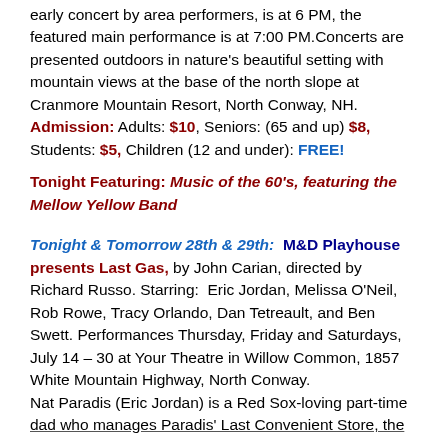early concert by area performers, is at 6 PM, the featured main performance is at 7:00 PM.Concerts are presented outdoors in nature's beautiful setting with mountain views at the base of the north slope at Cranmore Mountain Resort, North Conway, NH. Admission: Adults: $10, Seniors: (65 and up) $8, Students: $5, Children (12 and under): FREE!
Tonight Featuring: Music of the 60's, featuring the Mellow Yellow Band
Tonight & Tomorrow 28th & 29th: M&D Playhouse presents Last Gas, by John Carian, directed by Richard Russo. Starring: Eric Jordan, Melissa O'Neil, Rob Rowe, Tracy Orlando, Dan Tetreault, and Ben Swett. Performances Thursday, Friday and Saturdays, July 14 – 30 at Your Theatre in Willow Common, 1857 White Mountain Highway, North Conway. Nat Paradis (Eric Jordan) is a Red Sox-loving part-time dad who manages Paradis' Last Convenient Store, the